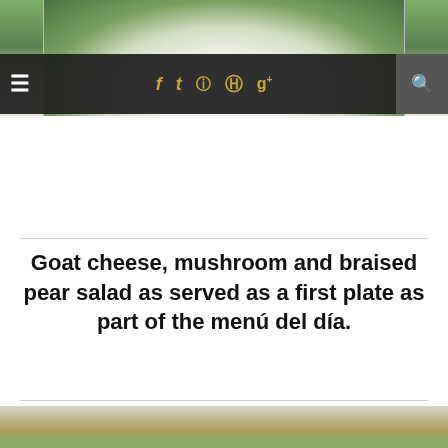[Figure (photo): Photo of a green salad with goat cheese and vegetables on a white plate, partially visible at the top of the page]
[Figure (screenshot): Website navigation bar with hamburger menu icon on left, social media icons (Facebook, Twitter, Instagram, Pinterest, Google+) in gold in the center, and a search icon on the right, all on a dark background]
Goat cheese, mushroom and braised pear salad as served as a first plate as part of the menú del día.
[Figure (photo): Photo of a mushroom and herb omelette on a white plate with green salad leaves and a fork visible on the right side]